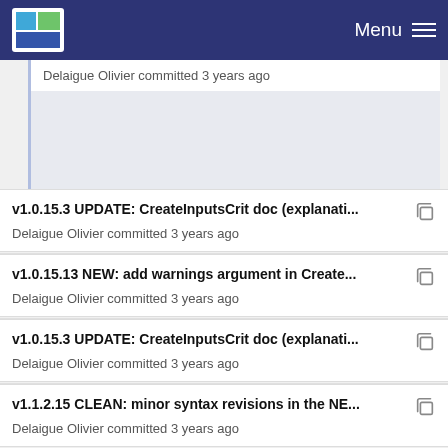Menu
Delaigue Olivier committed 3 years ago
v1.0.15.3 UPDATE: CreateInputsCrit doc (explanati...
Delaigue Olivier committed 3 years ago
v1.0.15.13 NEW: add warnings argument in Create...
Delaigue Olivier committed 3 years ago
v1.0.15.3 UPDATE: CreateInputsCrit doc (explanati...
Delaigue Olivier committed 3 years ago
v1.1.2.15 CLEAN: minor syntax revisions in the NE...
Delaigue Olivier committed 3 years ago